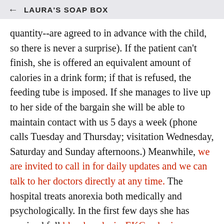LAURA'S SOAP BOX
quantity--are agreed to in advance with the child, so there is never a surprise). If the patient can't finish, she is offered an equivalent amount of calories in a drink form; if that is refused, the feeding tube is imposed. If she manages to live up to her side of the bargain she will be able to maintain contact with us 5 days a week (phone calls Tuesday and Thursday; visitation Wednesday, Saturday and Sunday afternoons.) Meanwhile, we are invited to call in for daily updates and we can talk to her doctors directly at any time. The hospital treats anorexia both medically and psychologically. In the first few days she has received full blood analysis, EKG, a brain scan and an EEG. Her heart is monitored every night. The unit provides a tandem team of psychiatrists--one specifically for anorexia, the other for more general issues (depression, anger, etc). They also have a family therapist on the team who will meet with our family